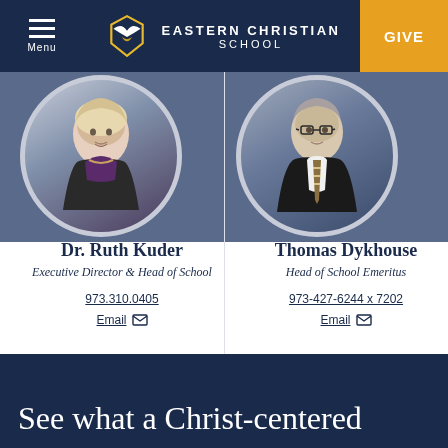Menu | EASTERN CHRISTIAN SCHOOL | GIVE
[Figure (photo): Circular portrait photo of Dr. Ruth Kuder, a woman with blonde hair wearing a black blazer and purple top]
Dr. Ruth Kuder
Executive Director & Head of School
973.310.0405
Email
[Figure (photo): Circular portrait photo of Thomas Dykhouse, a man wearing glasses, white shirt and striped tie with dark blazer]
Thomas Dykhouse
Head of School Emeritus
973-427-6244 x 7202
Email
See what a Christ-centered